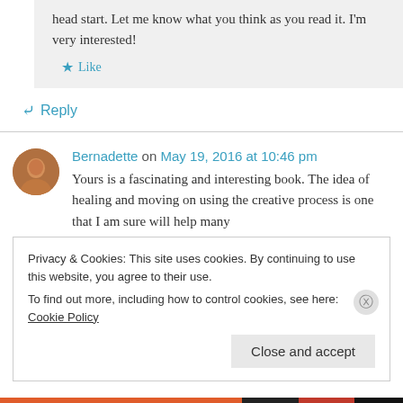head start. Let me know what you think as you read it. I'm very interested!
Like
Reply
Bernadette on May 19, 2016 at 10:46 pm
Yours is a fascinating and interesting book. The idea of healing and moving on using the creative process is one that I am sure will help many
Privacy & Cookies: This site uses cookies. By continuing to use this website, you agree to their use.
To find out more, including how to control cookies, see here: Cookie Policy
Close and accept